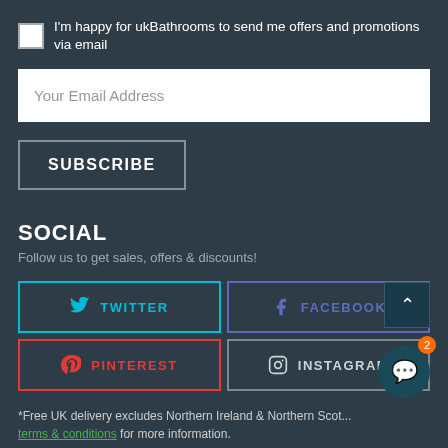I'm happy for ukBathrooms to send me offers and promotions via email
Your Email Address
SUBSCRIBE
SOCIAL
Follow us to get sales, offers & discounts!
TWITTER
FACEBOOK
PINTEREST
INSTAGRAM
*Free UK delivery excludes Northern Ireland & Northern Scot... terms & conditions for more information.